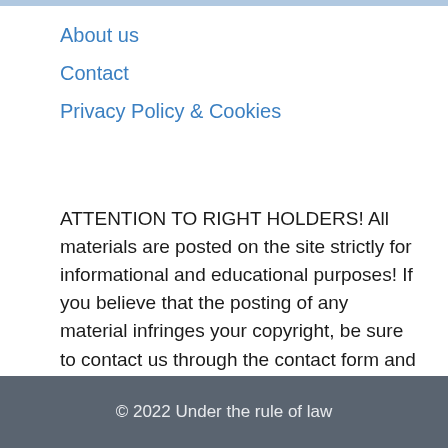About us
Contact
Privacy Policy & Cookies
ATTENTION TO RIGHT HOLDERS! All materials are posted on the site strictly for informational and educational purposes! If you believe that the posting of any material infringes your copyright, be sure to contact us through the contact form and your material will be removed!
© 2022 Under the rule of law